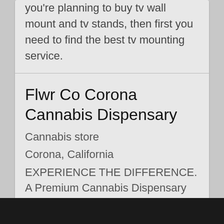you're planning to buy tv wall mount and tv stands, then first you need to find the best tv mounting service.
Flwr Co Corona Cannabis Dispensary
Cannabis store
Corona, California
EXPERIENCE THE DIFFERENCE. A Premium Cannabis Dispensary